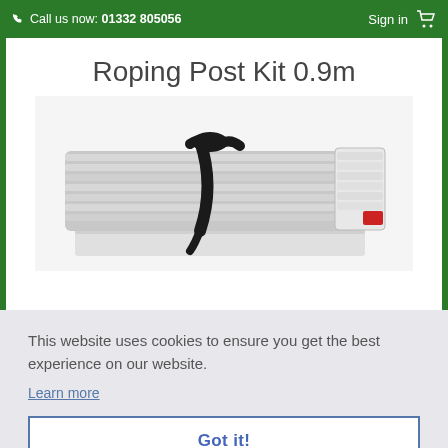Call us now: 01332 805056  Sign in
Roping Post Kit 0.9m
[Figure (photo): A bundle of white metal posts/tubes bound together with a black strap, stacked on a white tray or base.]
This website uses cookies to ensure you get the best experience on our website.
Learn more
Got it!
VIEW PRODUCT